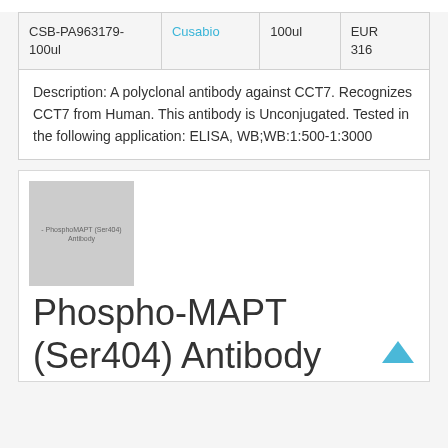| Catalog | Supplier | Size | Price |
| --- | --- | --- | --- |
| CSB-PA963179-100ul | Cusabio | 100ul | EUR 316 |
Description: A polyclonal antibody against CCT7. Recognizes CCT7 from Human. This antibody is Unconjugated. Tested in the following application: ELISA, WB;WB:1:500-1:3000
[Figure (photo): Thumbnail placeholder image for Phospho-MAPT (Ser404) Antibody product]
Phospho-MAPT (Ser404) Antibody